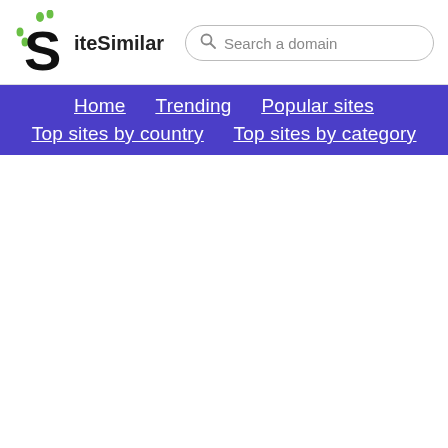[Figure (logo): SiteSimilar logo with stylized S and green dots, plus search box]
Home  Trending  Popular sites  Top sites by country  Top sites by category
5. nation.com.pk — Latest News, Today's Paper and Daily ePaper –